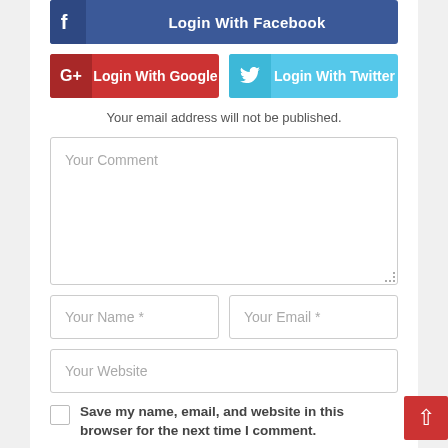[Figure (screenshot): Login with Facebook button (partial, top, dark blue)]
[Figure (screenshot): Login With Google (red) and Login With Twitter (light blue) social login buttons side by side]
Your email address will not be published.
[Figure (screenshot): Your Comment textarea input field]
[Figure (screenshot): Your Name * and Your Email * input fields side by side]
[Figure (screenshot): Your Website input field]
Save my name, email, and website in this browser for the next time I comment.